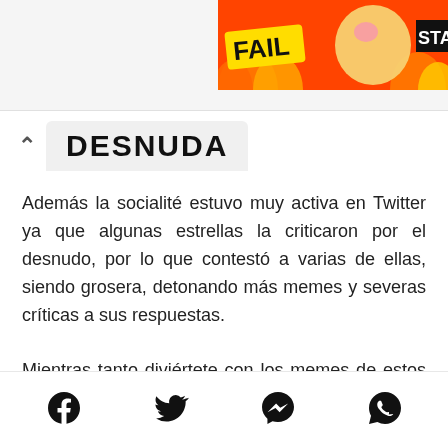[Figure (illustration): Colorful FAIL advertisement banner with cartoon character, flames, and partial text 'STA']
DESNUDA
Además la socialité estuvo muy activa en Twitter ya que algunas estrellas la criticaron por el desnudo, por lo que contestó a varias de ellas, siendo grosera, detonando más memes y severas críticas a sus respuestas.
Mientras tanto diviértete con los memes de estos ingeniosos usuarios en Twitter.
[Figure (infographic): Social sharing icons: Facebook, Twitter, Messenger, WhatsApp]